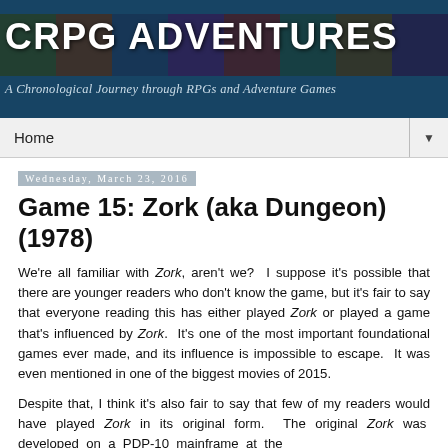CRPG ADVENTURES — A Chronological Journey through RPGs and Adventure Games
Home ▼
Wednesday, March 23, 2016
Game 15: Zork (aka Dungeon) (1978)
We're all familiar with Zork, aren't we?  I suppose it's possible that there are younger readers who don't know the game, but it's fair to say that everyone reading this has either played Zork or played a game that's influenced by Zork.  It's one of the most important foundational games ever made, and its influence is impossible to escape.  It was even mentioned in one of the biggest movies of 2015.
Despite that, I think it's also fair to say that few of my readers would have played Zork in its original form.  The original Zork was developed on a PDP-10 mainframe at the